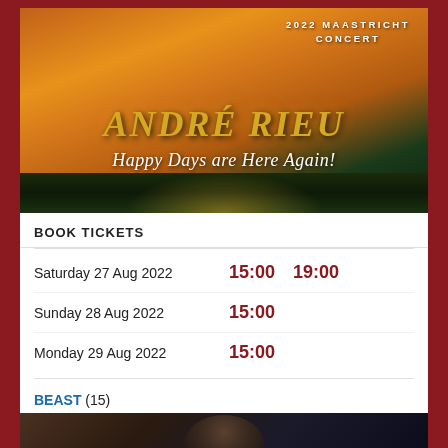[Figure (photo): André Rieu 2022 Maastricht Concert promotional poster. Shows André Rieu smiling, with text '2022 MAASTRICHT CONCERT', 'ANDRÉ RIEU', and 'Happy Days are Here Again!' overlaid on a colorful concert scene with a cathedral and fireworks in the background.]
BOOK TICKETS
Saturday 27 Aug 2022  15:00  19:00
Sunday 28 Aug 2022  15:00
Monday 29 Aug 2022  15:00
BEAST (15)
[Figure (photo): Partial view of a movie promotional image for BEAST, showing a person (partially visible at bottom of page).]